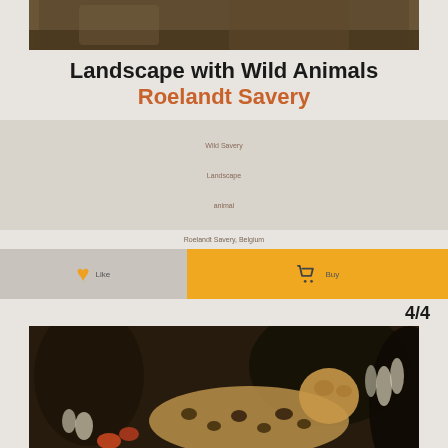[Figure (photo): Top portion of artwork - Landscape with Wild Animals by Roelandt Savery, dark toned painting with animals]
Landscape with Wild Animals
Roelandt Savery
Wild Savery
Landscape
animal
Roelandt Savery, Belgium
Like
Buy
4/4
[Figure (photo): Bottom portion of artwork - dark painting showing a leopard resting among flowers and foliage]